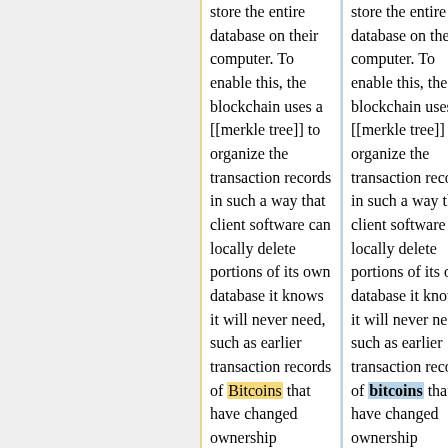store the entire database on their computer. To enable this, the blockchain uses a [[merkle tree]] to organize the transaction records in such a way that client software can locally delete portions of its own database it knows it will never need, such as earlier transaction records of Bitcoins that have changed ownership multiple times
store the entire database on their computer. To enable this, the blockchain uses a [[merkle tree]] to organize the transaction records in such a way that client software can locally delete portions of its own database it knows it will never need, such as earlier transaction records of bitcoins that have changed ownership multiple times